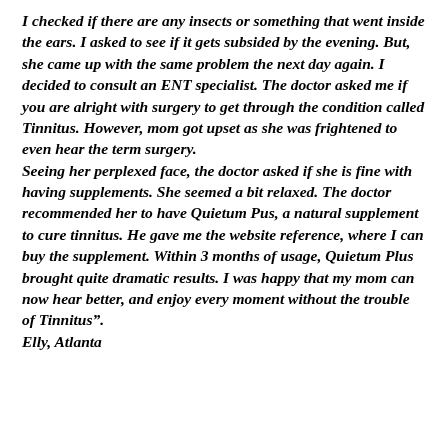I checked if there are any insects or something that went inside the ears. I asked to see if it gets subsided by the evening. But, she came up with the same problem the next day again. I decided to consult an ENT specialist. The doctor asked me if you are alright with surgery to get through the condition called Tinnitus. However, mom got upset as she was frightened to even hear the term surgery. Seeing her perplexed face, the doctor asked if she is fine with having supplements. She seemed a bit relaxed. The doctor recommended her to have Quietum Pus, a natural supplement to cure tinnitus. He gave me the website reference, where I can buy the supplement. Within 3 months of usage, Quietum Plus brought quite dramatic results. I was happy that my mom can now hear better, and enjoy every moment without the trouble of Tinnitus". Elly, Atlanta